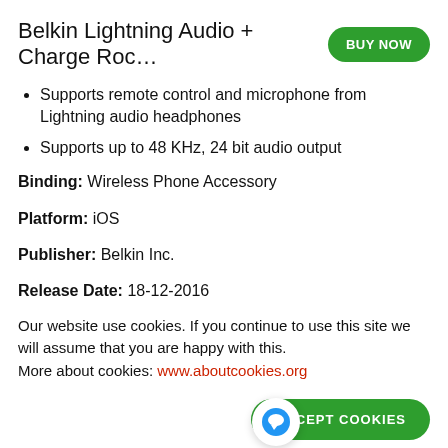Belkin Lightning Audio + Charge Roc…
Supports remote control and microphone from Lightning audio headphones
Supports up to 48 KHz, 24 bit audio output
Binding: Wireless Phone Accessory
Platform: iOS
Publisher: Belkin Inc.
Release Date: 18-12-2016
Details: The Belkin Lightning audio + charge rockstar makes it possible to listen to Lightning audio while charging your iPhone
Our website use cookies. If you continue to use this site we will assume that you are happy with this. More about cookies: www.aboutcookies.org